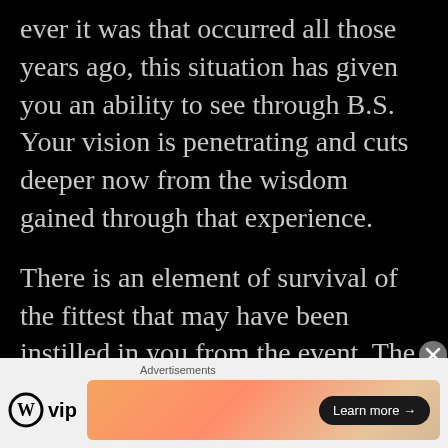ever it was that occurred all those years ago, this situation has given you an ability to see through B.S. Your vision is penetrating and cuts deeper now from the wisdom gained through that experience.

There is an element of survival of the fittest that may have been instilled in you from the event. The situation likely made you understand clearly how
Advertisements
[Figure (other): WordPress VIP logo and advertisement banner with 'Learn more' button]